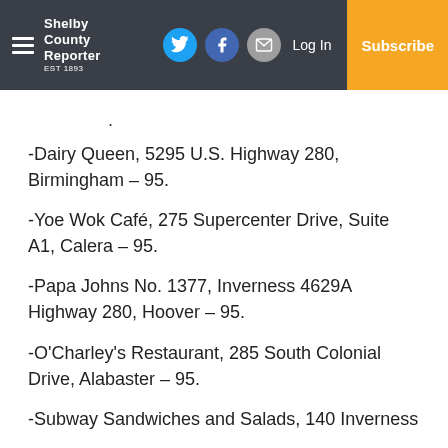Shelby County Reporter | Log In | Subscribe
.
-Dairy Queen, 5295 U.S. Highway 280, Birmingham – 95.
-Yoe Wok Café, 275 Supercenter Drive, Suite A1, Calera – 95.
-Papa Johns No. 1377, Inverness 4629A Highway 280, Hoover – 95.
-O'Charley's Restaurant, 285 South Colonial Drive, Alabaster – 95.
-Subway Sandwiches and Salads, 140 Inverness…